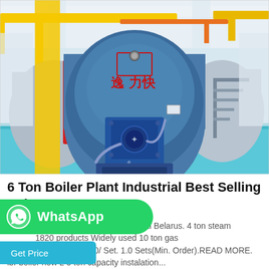[Figure (photo): Industrial boiler plant interior showing a large blue cylindrical gas boiler with Chinese characters, blue burner assembly, yellow overhead pipes, red pipes on the left, and a blue painted floor. Bright industrial facility with white ceiling structure.]
6 Ton Boiler Plant Industrial Best Selling Belarus
Agent 4 Ton Gas Boiler Plant Industrial Belarus. 4 ton steam 1820 products Widely used 10 ton gas 00.00-$86000.00/ Set. 1.0 Sets(Min. Order).READ MORE. ibr boiler new 2 5 ton capacity instalation...